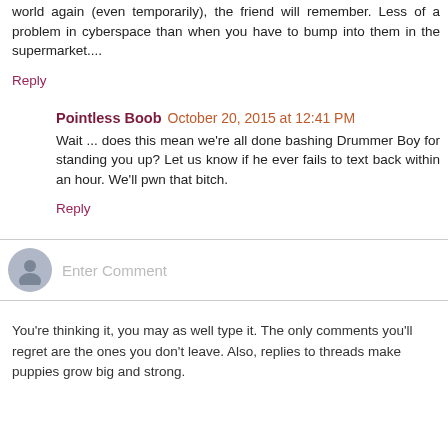world again (even temporarily), the friend will remember. Less of a problem in cyberspace than when you have to bump into them in the supermarket....
Reply
Pointless Boob  October 20, 2015 at 12:41 PM
Wait ... does this mean we're all done bashing Drummer Boy for standing you up? Let us know if he ever fails to text back within an hour. We'll pwn that bitch.
Reply
Enter Comment
You're thinking it, you may as well type it. The only comments you'll regret are the ones you don't leave. Also, replies to threads make puppies grow big and strong.